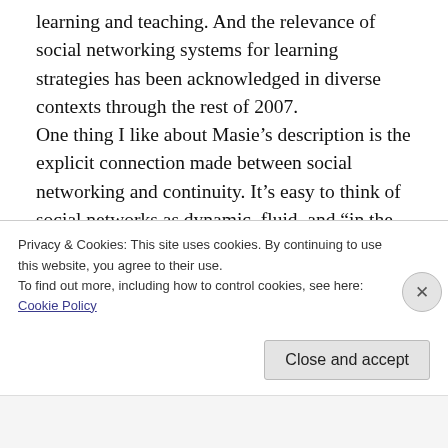learning and teaching. And the relevance of social networking systems for learning strategies has been acknowledged in diverse contexts through the rest of 2007. One thing I like about Masie’s description is the explicit connection made between social networking and continuity. It’s easy to think of social networks as dynamic, fluid, and “in the now.” Yet, one of their useful dimensions is that they allow for a special type of direct
Privacy & Cookies: This site uses cookies. By continuing to use this website, you agree to their use.
To find out more, including how to control cookies, see here: Cookie Policy
Close and accept